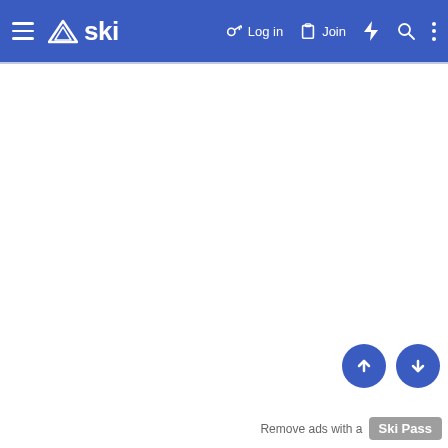≡ △ski  🔑 Log in  📋 Join  ⚡ 🔍 ⋮
[Figure (screenshot): White empty content area below navigation bar]
Remove ads with a Ski Pass